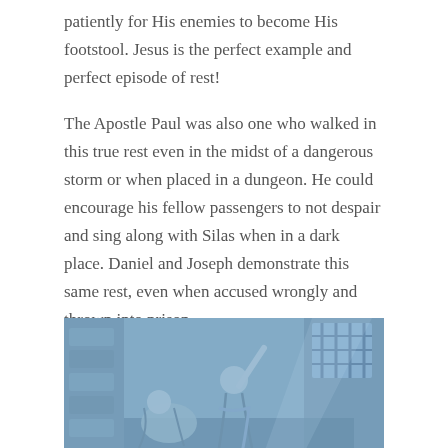patiently for His enemies to become His footstool. Jesus is the perfect example and perfect episode of rest!
The Apostle Paul was also one who walked in this true rest even in the midst of a dangerous storm or when placed in a dungeon. He could encourage his fellow passengers to not despair and sing along with Silas when in a dark place. Daniel and Joseph demonstrate this same rest, even when accused wrongly and thrown into prison.
[Figure (illustration): A blue-toned illustration or painting depicting two figures in a dungeon or prison setting, one appearing to be reaching upward, with a barred window visible in the background.]